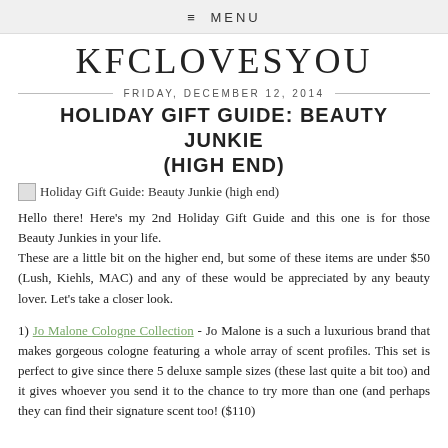≡ MENU
KFCLOVESYOU
FRIDAY, DECEMBER 12, 2014
HOLIDAY GIFT GUIDE: BEAUTY JUNKIE (HIGH END)
[Figure (photo): Broken image placeholder with alt text: Holiday Gift Guide: Beauty Junkie (high end)]
Hello there! Here's my 2nd Holiday Gift Guide and this one is for those Beauty Junkies in your life.
These are a little bit on the higher end, but some of these items are under $50 (Lush, Kiehls, MAC) and any of these would be appreciated by any beauty lover. Let's take a closer look.
1) Jo Malone Cologne Collection - Jo Malone is a such a luxurious brand that makes gorgeous cologne featuring a whole array of scent profiles. This set is perfect to give since there 5 deluxe sample sizes (these last quite a bit too) and it gives whoever you send it to the chance to try more than one (and perhaps they can find their signature scent too! ($110)